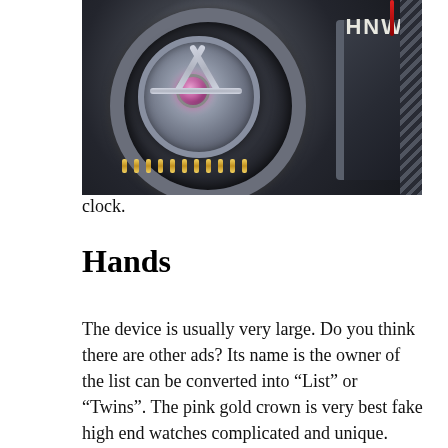[Figure (photo): Close-up macro photograph of a luxury watch movement mechanism showing metal gears, a purple/pink jewel bearing at center, gold-colored pins, and 'HNW' text visible in the upper right area of the movement.]
clock.
Hands
The device is usually very large. Do you think there are other ads? Its name is the owner of the list can be converted into “List” or “Twins”. The pink gold crown is very best fake high end watches complicated and unique. Standard gold has a silver bell, a pavilion, a minute, two hands, gold bearing symbols